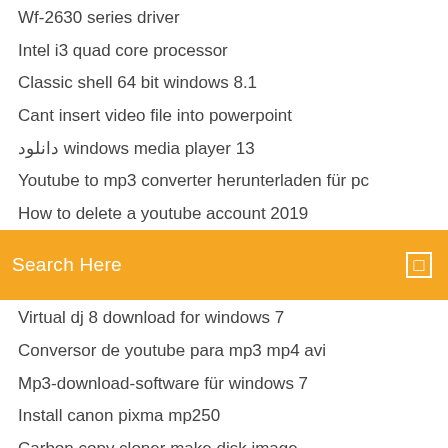Wf-2630 series driver
Intel i3 quad core processor
Classic shell 64 bit windows 8.1
Cant insert video file into powerpoint
دانلود windows media player 13
Youtube to mp3 converter herunterladen für pc
How to delete a youtube account 2019
Search Here
Virtual dj 8 download for windows 7
Conversor de youtube para mp3 mp4 avi
Mp3-download-software für windows 7
Install canon pixma mp250
Carbon copy cloner make disk image
Hama black force gamepad driver
Sennheiser cxc700 noise cancellation in-ear headphones
Amd ryzen 9 3950x sockel
Nitro pdf professional 7 free download 64 bit
Wann kommt ein neues iphone update